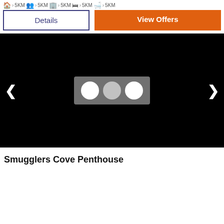5KM > 5KM > 5KM > 5KM > 5KM
Details | View Offers
[Figure (screenshot): Black image carousel with left and right navigation arrows and three dot indicators in the center]
Smugglers Cove Penthouse